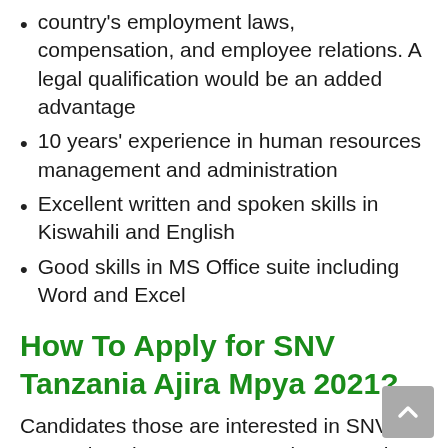country's employment laws, compensation, and employee relations. A legal qualification would be an added advantage
10 years' experience in human resources management and administration
Excellent written and spoken skills in Kiswahili and English
Good skills in MS Office suite including Word and Excel
How To Apply for SNV Tanzania Ajira Mpya 2021?
Candidates those are interested in SNV Tanzania Job Vacancy Recruitment and want to apply, They can read and check following